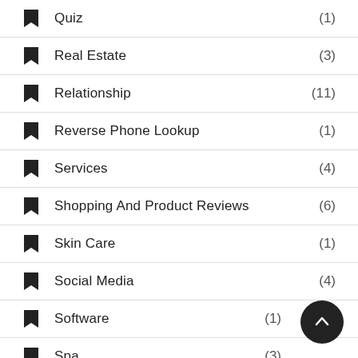Quiz (1)
Real Estate (3)
Relationship (11)
Reverse Phone Lookup (1)
Services (4)
Shopping And Product Reviews (6)
Skin Care (1)
Social Media (4)
Software (1)
Spa (3)